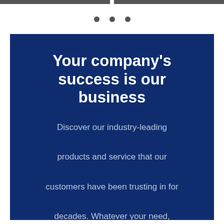[Figure (other): Two gray horizontal bars at the top of the page, side by side with a small gap]
[Figure (other): Three horizontal dot indicators (pagination dots), dark gray circles evenly spaced]
Your company’s success is our business
Discover our industry-leading products and service that our customers have been trusting in for decades. Whatever your need, we’re here